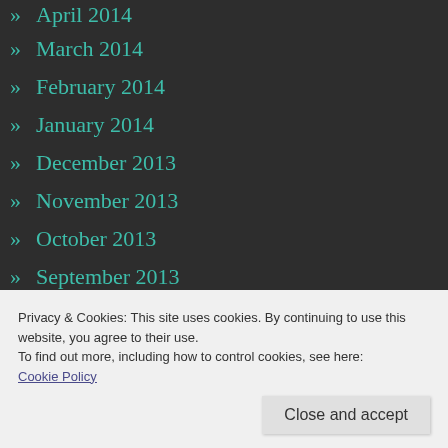» April 2014
» March 2014
» February 2014
» January 2014
» December 2013
» November 2013
» October 2013
» September 2013
» August 2013
» July 2013
» June 2013
Privacy & Cookies: This site uses cookies. By continuing to use this website, you agree to their use. To find out more, including how to control cookies, see here: Cookie Policy
» February 2013